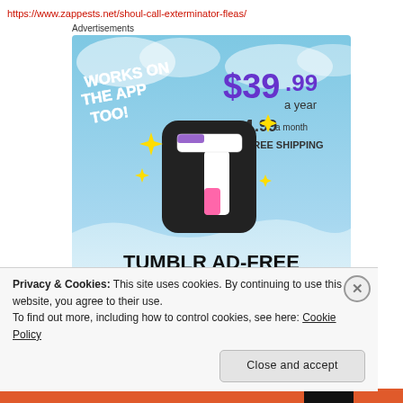https://www.zappests.net/shoul-call-exterminator-fleas/
Advertisements
[Figure (screenshot): Tumblr Ad-Free Browsing advertisement. Sky blue background with clouds. Text: WORKS ON THE APP TOO! $39.99 a year or $4.99 a month + FREE SHIPPING. Large stylized Tumblr 't' logo with pink, purple, and white colors, surrounded by yellow sparkles. Bottom text: TUMBLR AD-FREE BROWSING]
Privacy & Cookies: This site uses cookies. By continuing to use this website, you agree to their use.
To find out more, including how to control cookies, see here: Cookie Policy
Close and accept